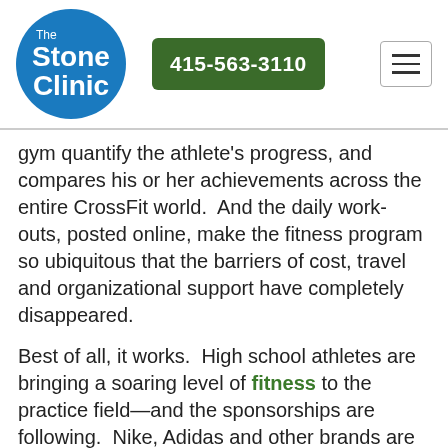[Figure (logo): The Stone Clinic logo: blue circle with white text reading 'The Stone Clinic']
415-563-3110
gym quantify the athlete's progress, and compares his or her achievements across the entire CrossFit world.  And the daily work-outs, posted online, make the fitness program so ubiquitous that the barriers of cost, travel and organizational support have completely disappeared.
Best of all, it works.  High school athletes are bringing a soaring level of fitness to the practice field—and the sponsorships are following.  Nike, Adidas and other brands are competing to get on the bandwagon. Simply look at any high school or collegiate golfer.  In a sport not previously known